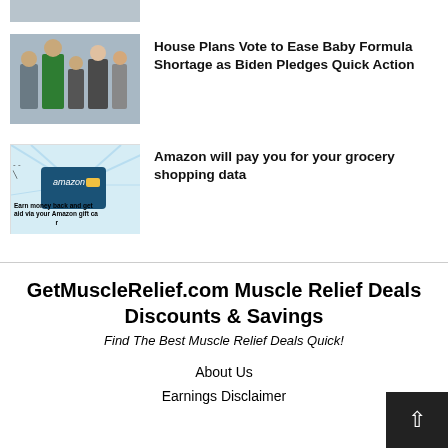[Figure (photo): Partial top thumbnail - cropped image strip at top of page]
[Figure (photo): Photo of politicians/officials walking in hallway, woman in green coat prominent]
House Plans Vote to Ease Baby Formula Shortage as Biden Pledges Quick Action
[Figure (photo): Amazon credit card promotional image with light rays background, text: Earn money back and get aid via your Amazon gift card]
Amazon will pay you for your grocery shopping data
GetMuscleRelief.com Muscle Relief Deals Discounts & Savings
Find The Best Muscle Relief Deals Quick!
About Us
Earnings Disclaimer